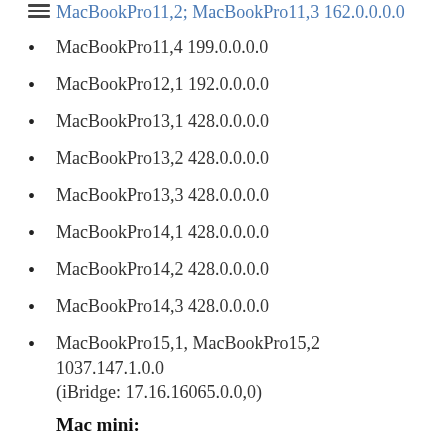MacBookPro11,2; MacBookPro11,3 162.0.0.0.0
MacBookPro11,4 199.0.0.0.0
MacBookPro12,1 192.0.0.0.0
MacBookPro13,1 428.0.0.0.0
MacBookPro13,2 428.0.0.0.0
MacBookPro13,3 428.0.0.0.0
MacBookPro14,1 428.0.0.0.0
MacBookPro14,2 428.0.0.0.0
MacBookPro14,3 428.0.0.0.0
MacBookPro15,1, MacBookPro15,2 1037.147.1.0.0 (iBridge: 17.16.16065.0.0,0)
Mac mini:
Macmini4,1 76.0.0.0